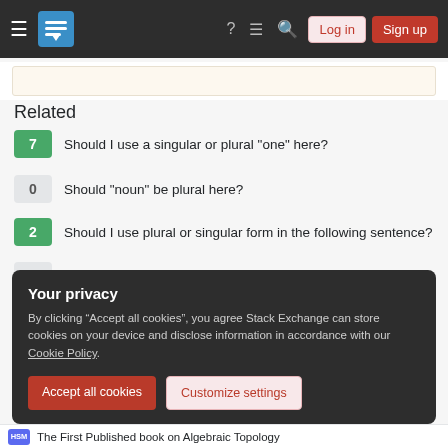Stack Exchange navigation bar with Log in and Sign up buttons
Related
7 Should I use a singular or plural "one" here?
0 Should "noun" be plural here?
2 Should I use plural or singular form in the following sentence?
0 Should this sentence use the singular "is" or the plural "are"?
0 Should “lifestyle” be plural here?
Your privacy
By clicking “Accept all cookies”, you agree Stack Exchange can store cookies on your device and disclose information in accordance with our Cookie Policy.
HSM The First Published book on Algebraic Topology